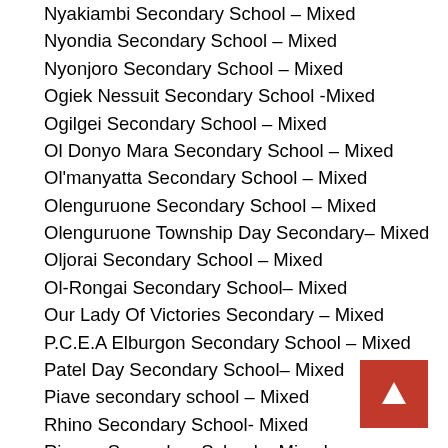Nyakiambi Secondary School – Mixed
Nyondia Secondary School – Mixed
Nyonjoro Secondary School – Mixed
Ogiek Nessuit Secondary School -Mixed
Ogilgei Secondary School – Mixed
Ol Donyo Mara Secondary School – Mixed
Ol'manyatta Secondary School – Mixed
Olenguruone Secondary School – Mixed
Olenguruone Township Day Secondary– Mixed
Oljorai Secondary School – Mixed
Ol-Rongai Secondary School– Mixed
Our Lady Of Victories Secondary – Mixed
P.C.E.A Elburgon Secondary School – Mixed
Patel Day Secondary School– Mixed
Piave secondary school – Mixed
Rhino Secondary School- Mixed
Rigogo Secondary School – Mixed
Ruiru Secondary School– Mixed
Rurii Secondary School – Mixed
Sachangwan Ndoinet Secondary – Mixed
Sachangwan Secondary School – Mixed